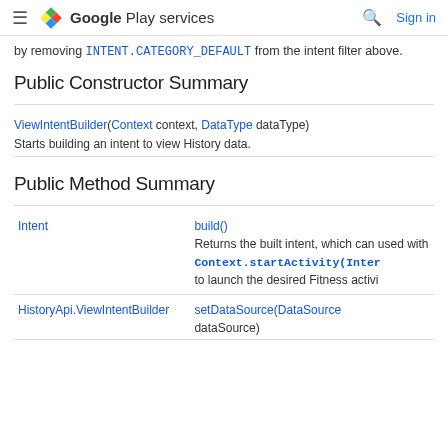Google Play services — Sign in
by removing INTENT.CATEGORY_DEFAULT from the intent filter above.
Public Constructor Summary
| Constructor | Description |
| --- | --- |
| ViewIntentBuilder(Context context, DataType dataType) | Starts building an intent to view History data. |
Public Method Summary
| Return Type | Method |
| --- | --- |
| Intent | build()
Returns the built intent, which can used with Context.startActivity(Inter to launch the desired Fitness activi |
| HistoryApi.ViewIntentBuilder | setDataSource(DataSource dataSource) |